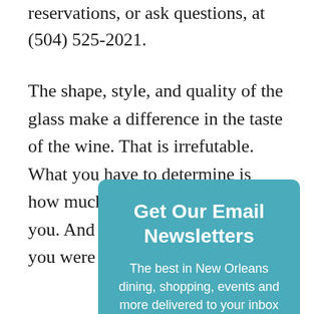reservations, or ask questions, at (504) 525-2021.
The shape, style, and quality of the glass make a difference in the taste of the wine. That is irrefutable. What you have to determine is how much it makes a difference to you. And it would be a shame if you were to sell yourself short.
Get Our Email Newsletters
The best in New Orleans dining, shopping, events and more delivered to your inbox